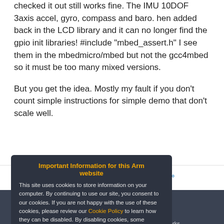checked it out still works fine. The IMU 10DOF 3axis accel, gyro, compass and baro. hen added back in the LCD library and it can no longer find the gpio init libraries! #include "mbed_assert.h" I see them in the mbedmicro/mbed but not the gcc4mbed so it must be too many mixed versions.
But you get the idea. Mostly my fault if you don't count simple instructions for simple demo that don't scale well.
Page « prev ... 3  4  5  6  7  8  next »
[Figure (screenshot): Footer icons: chat bubble and edit pencil icons on dark background]
mited (or its affiliates).
Home | Website Terms | Privacy | Cookies | Trademarks
Important Information for this Arm website
This site uses cookies to store information on your computer. By continuing to use our site, you consent to our cookies. If you are not happy with the use of these cookies, please review our Cookie Policy to learn how they can be disabled. By disabling cookies, some features of the site will not work.
Accept and hide this message